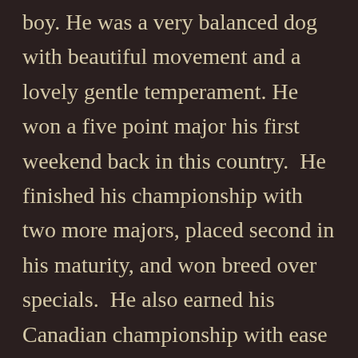boy. He was a very balanced dog with beautiful movement and a lovely gentle temperament. He won a five point major his first weekend back in this country.  He finished his championship with two more majors, placed second in his maturity, and won breed over specials.  He also earned his Canadian championship with ease before returning home to Finland.  In December of 2007 he won breed at the International Dog Show in Stockholm and in December of 2008 won breed at the World Dog Show